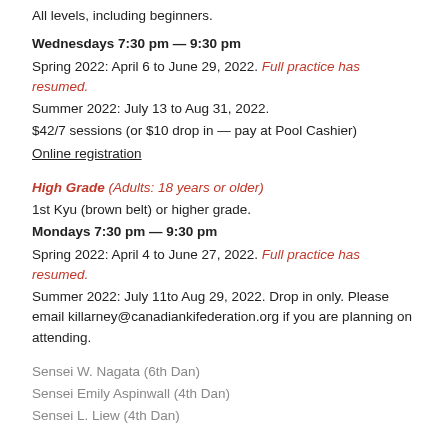All levels, including beginners.
Wednesdays 7:30 pm — 9:30 pm
Spring 2022: April 6 to June 29, 2022. Full practice has resumed.
Summer 2022: July 13 to Aug 31, 2022.
$42/7 sessions (or $10 drop in — pay at Pool Cashier)
Online registration
High Grade (Adults: 18 years or older)
1st Kyu (brown belt) or higher grade.
Mondays 7:30 pm — 9:30 pm
Spring 2022: April 4 to June 27, 2022. Full practice has resumed.
Summer 2022: July 11to Aug 29, 2022. Drop in only. Please email killarney@canadiankifederation.org if you are planning on attending.
Sensei W. Nagata (6th Dan)
Sensei Emily Aspinwall (4th Dan)
Sensei L. Liew (4th Dan)
Killarney Ki Aikido
Killarney Community Centre
6260 Killarney Street (Kerr and 49th), Southeast Vancouver, BC